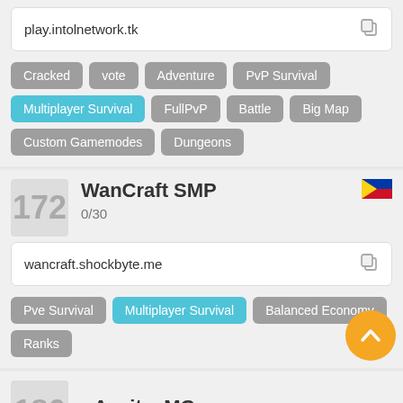play.intolnetwork.tk
Cracked
vote
Adventure
PvP Survival
Multiplayer Survival
FullPvP
Battle
Big Map
Custom Gamemodes
Dungeons
WanCraft SMP
0/30
wancraft.shockbyte.me
Pve Survival
Multiplayer Survival
Balanced Economy
Ranks
AevitasMC